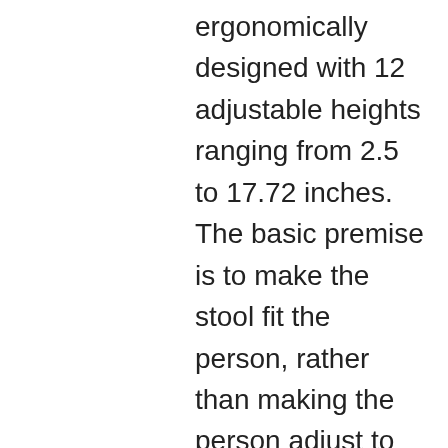ergonomically designed with 12 adjustable heights ranging from 2.5 to 17.72 inches. The basic premise is to make the stool fit the person, rather than making the person adjust to the stool. You can enjoy every nature's scenery while relaxing with our Magic Stool!
🔧ENGINEERING - US PATENTED Waves Scale Design and heavy duty industrial plastic material give the telescopic stool remarkable strength and rigidity. The side support is reinforced, the anti-slip